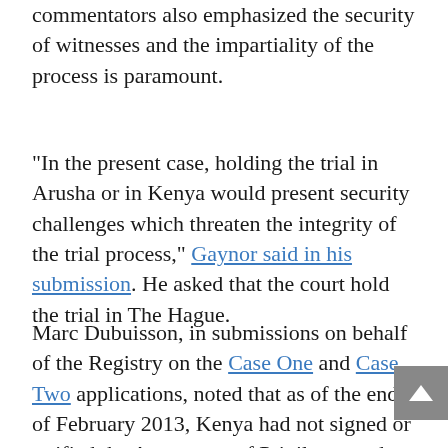commentators also emphasized the security of witnesses and the impartiality of the process is paramount.
“In the present case, holding the trial in Arusha or in Kenya would present security challenges which threaten the integrity of the trial process,” Gaynor said in his submission. He asked that the court hold the trial in The Hague.
Marc Dubuisson, in submissions on behalf of the Registry on the Case One and Case Two applications, noted that as of the end of February 2013, Kenya had not signed or ratified the Agreement of Privileges and Immunities with the Court, which is a key factor in the ability of the ICC and its in...